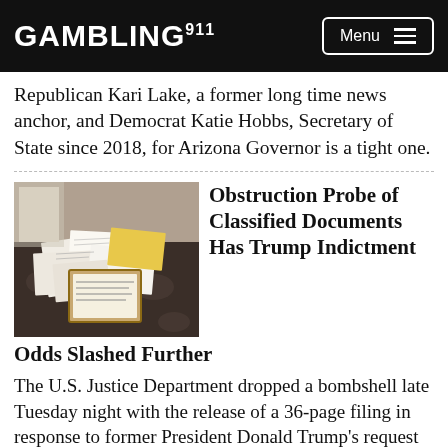GAMBLING911 Menu
Republican Kari Lake, a former long time news anchor, and Democrat Katie Hobbs, Secretary of State since 2018, for Arizona Governor is a tight one.
[Figure (photo): Photograph of scattered documents on a decorative dark surface, including papers with official-looking text and a framed document.]
Obstruction Probe of Classified Documents Has Trump Indictment Odds Slashed Further
The U.S. Justice Department dropped a bombshell late Tuesday night with the release of a 36-page filing in response to former President Donald Trump's request to have a third party appointed to sift through seized documents.  The filing, which went public shortly before 11:30 pm